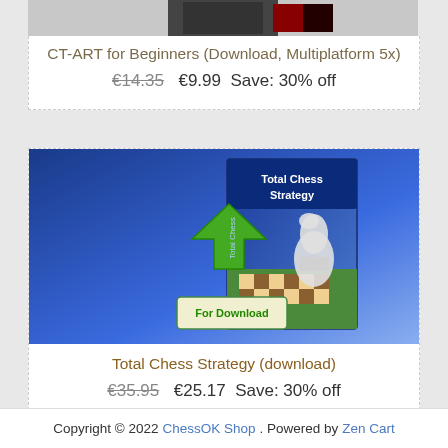[Figure (photo): Partial product image for CT-ART for Beginners (top of page, cropped)]
CT-ART for Beginners (Download, Multiplatform 5x)
€14.35  €9.99  Save: 30% off
[Figure (photo): Total Chess Strategy software box cover showing a chess knight piece on a chessboard with a green download arrow and 'For Download' label]
Total Chess Strategy (download)
€35.95  €25.17  Save: 30% off
Copyright © 2022 ChessOK Shop. Powered by Zen Cart